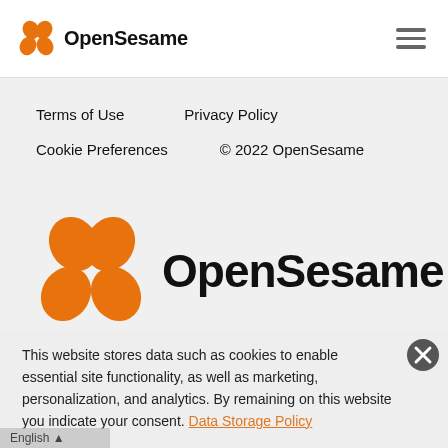OpenSesame
Terms of Use
Privacy Policy
Cookie Preferences
© 2022 OpenSesame
[Figure (logo): OpenSesame logo — orange four-petal flower icon and bold black OpenSesame wordmark, large format]
This website stores data such as cookies to enable essential site functionality, as well as marketing, personalization, and analytics. By remaining on this website you indicate your consent. Data Storage Policy